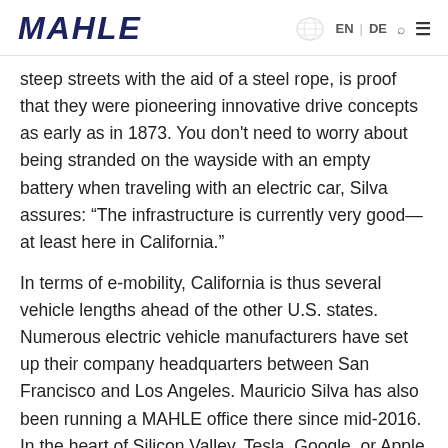MAHLE | EN | DE
steep streets with the aid of a steel rope, is proof that they were pioneering innovative drive concepts as early as in 1873. You don't need to worry about being stranded on the wayside with an empty battery when traveling with an electric car, Silva assures: “The infrastructure is currently very good— at least here in California.”
In terms of e-mobility, California is thus several vehicle lengths ahead of the other U.S. states. Numerous electric vehicle manufacturers have set up their company headquarters between San Francisco and Los Angeles. Mauricio Silva has also been running a MAHLE office there since mid-2016. In the heart of Silicon Valley. Tesla, Google, or Apple are only a few minutes’ drive away. “We want to establish contacts and of course show what we at MAHLE have to offer,” he explains. In fact, the company can score